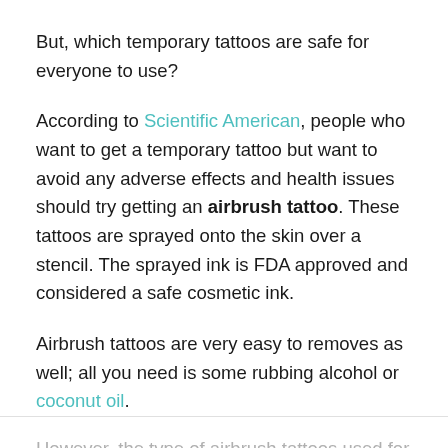But, which temporary tattoos are safe for everyone to use?
According to Scientific American, people who want to get a temporary tattoo but want to avoid any adverse effects and health issues should try getting an airbrush tattoo. These tattoos are sprayed onto the skin over a stencil. The sprayed ink is FDA approved and considered a safe cosmetic ink.
Airbrush tattoos are very easy to removes as well; all you need is some rubbing alcohol or coconut oil.
However, the type of airbrush tattoos used for